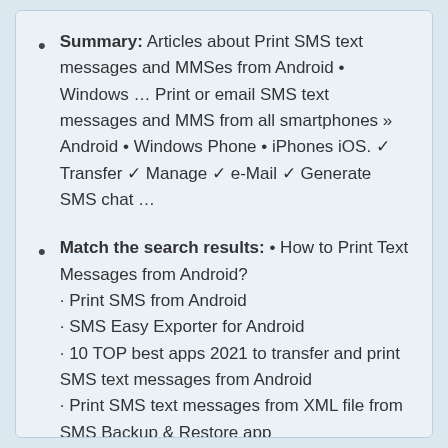Summary: Articles about Print SMS text messages and MMSes from Android • Windows … Print or email SMS text messages and MMS from all smartphones » Android • Windows Phone • iPhones iOS. ✓ Transfer ✓ Manage ✓ e-Mail ✓ Generate SMS chat …
Match the search results: • How to Print Text Messages from Android? · Print SMS from Android · SMS Easy Exporter for Android · 10 TOP best apps 2021 to transfer and print SMS text messages from Android · Print SMS text messages from XML file from SMS Backup & Restore app · How to open MSG file online containing SMSs to...